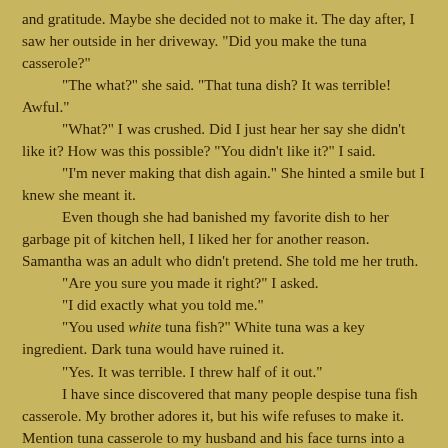and gratitude. Maybe she decided not to make it. The day after, I saw her outside in her driveway. "Did you make the tuna casserole?"
	"The what?" she said. "That tuna dish? It was terrible! Awful."
	"What?" I was crushed. Did I just hear her say she didn't like it? How was this possible? "You didn't like it?" I said.
	"I'm never making that dish again." She hinted a smile but I knew she meant it.
	Even though she had banished my favorite dish to her garbage pit of kitchen hell, I liked her for another reason. Samantha was an adult who didn't pretend. She told me her truth.
	"Are you sure you made it right?" I asked.
	"I did exactly what you told me."
	"You used white tuna fish?" White tuna was a key ingredient. Dark tuna would have ruined it.
	"Yes. It was terrible. I threw half of it out."
	I have since discovered that many people despise tuna fish casserole. My brother adores it, but his wife refuses to make it. Mention tuna casserole to my husband and his face turns into a battered-looking sponge.
	Those days, I don't eat much processed foods or even it's